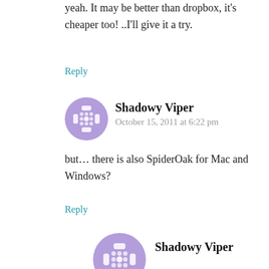yeah. It may be better than dropbox, it's cheaper too! ..I'll give it a try.
Reply
[Figure (illustration): Purple avatar icon with compass-rose/cross pattern for user Shadowy Viper]
Shadowy Viper
October 15, 2011 at 6:22 pm
but… there is also SpiderOak for Mac and Windows?
Reply
[Figure (illustration): Purple avatar icon with compass-rose/cross pattern for user Shadowy Viper (second instance)]
Shadowy Viper